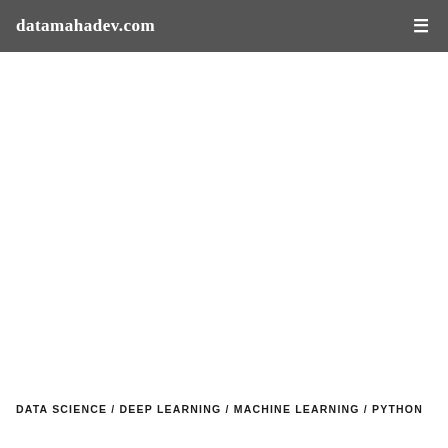datamahadev.com
DATA SCIENCE / DEEP LEARNING / MACHINE LEARNING / PYTHON